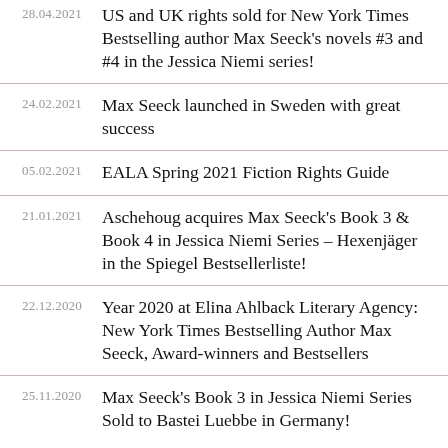28.04.2021 US and UK rights sold for New York Times Bestselling author Max Seeck’s novels #3 and #4 in the Jessica Niemi series!
24.02.2021 Max Seeck launched in Sweden with great success
05.02.2021 EALA Spring 2021 Fiction Rights Guide
21.01.2021 Aschehoug acquires Max Seeck’s Book 3 & Book 4 in Jessica Niemi Series – Hexenjäger in the Spiegel Bestsellerliste!
22.12.2020 Year 2020 at Elina Ahlback Literary Agency: New York Times Bestselling Author Max Seeck, Award-winners and Bestsellers
25.11.2020 Max Seeck’s Book 3 in Jessica Niemi Series Sold to Bastei Luebbe in Germany!